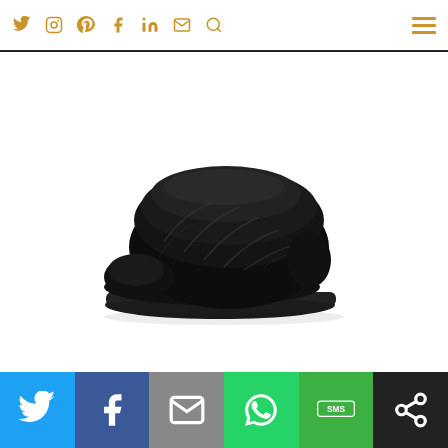Navigation bar with social icons: Twitter, Instagram, Pinterest, Facebook, LinkedIn, Email, Search, and hamburger menu
[Figure (photo): Black fluffy fur slipper / slide sandal with open toe and rubber sole, photographed on white background, facing left]
Social share bar with buttons: Twitter (blue), Facebook (dark blue), Email (gray), WhatsApp (green), SMS (green), Other (black)